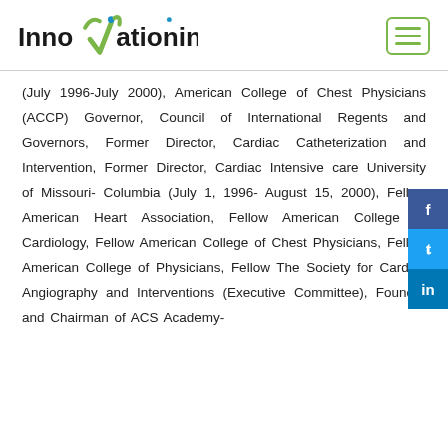InnoVationinfo
(July 1996-July 2000), American College of Chest Physicians (ACCP) Governor, Council of International Regents and Governors, Former Director, Cardiac Catheterization and Intervention, Former Director, Cardiac Intensive care University of Missouri- Columbia (July 1, 1996- August 15, 2000), Fellow American Heart Association, Fellow American College of Cardiology, Fellow American College of Chest Physicians, Fellow American College of Physicians, Fellow The Society for Cardiac Angiography and Interventions (Executive Committee), Founder and Chairman of ACS Academy-